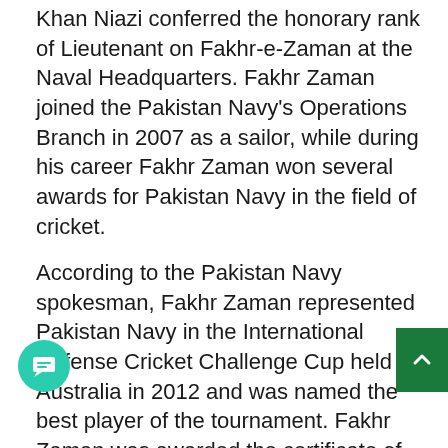Khan Niazi conferred the honorary rank of Lieutenant on Fakhr-e-Zaman at the Naval Headquarters. Fakhr Zaman joined the Pakistan Navy's Operations Branch in 2007 as a sailor, while during his career Fakhr Zaman won several awards for Pakistan Navy in the field of cricket.
According to the Pakistan Navy spokesman, Fakhr Zaman represented Pakistan Navy in the International Defense Cricket Challenge Cup held in Australia in 2012 and was named the best player of the tournament. Fakhr Zaman was awarded the certificate of appreciation by the Chairman Joint Chiefs of Staff Committee. Has also been awarded.
ording to Pakistan Navy spokesman, addressing the function, Amir-ul-Bahr congratulated Fakhar Zaman and his family and said that Pakistan Navy i...